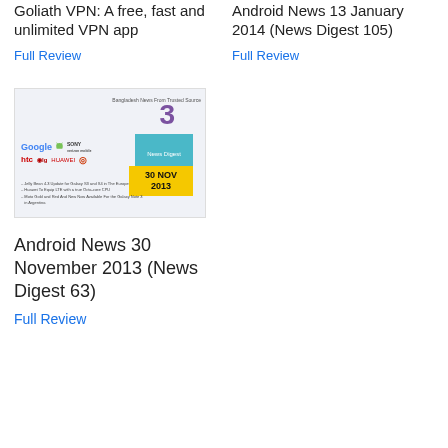Goliath VPN: A free, fast and unlimited VPN app
Full Review
Android News 13 January 2014 (News Digest 105)
Full Review
[Figure (screenshot): Thumbnail image showing Android News Digest 30 November 2013 with logos of Google, Android, Sony, HTC, LG, Huawei, Motorola, a blue News Digest box and yellow date box showing 30 NOV 2013]
Android News 30 November 2013 (News Digest 63)
Full Review